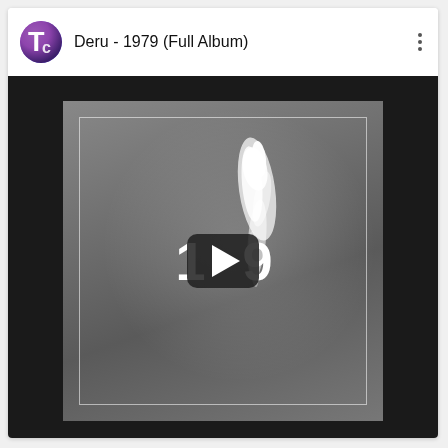[Figure (screenshot): YouTube-style video card showing 'Deru - 1979 (Full Album)' with a channel logo (Tc in purple/blue circle), video thumbnail of the 1979 album art in grayscale with a play button overlay, and a three-dot menu icon.]
Deru - 1979 (Full Album)